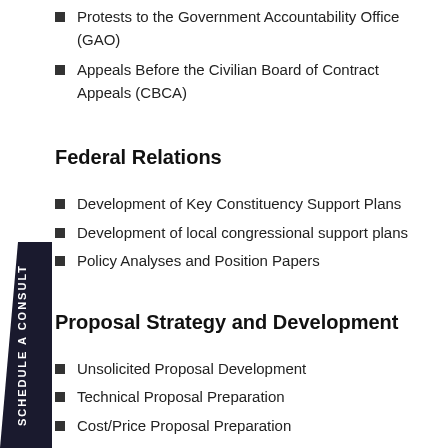Protests to the Government Accountability Office (GAO)
Appeals Before the Civilian Board of Contract Appeals (CBCA)
Federal Relations
Development of Key Constituency Support Plans
Development of local congressional support plans
Policy Analyses and Position Papers
Proposal Strategy and Development
Unsolicited Proposal Development
Technical Proposal Preparation
Cost/Price Proposal Preparation
Representations and Certifications
Teaming/Joint Venture Strategies